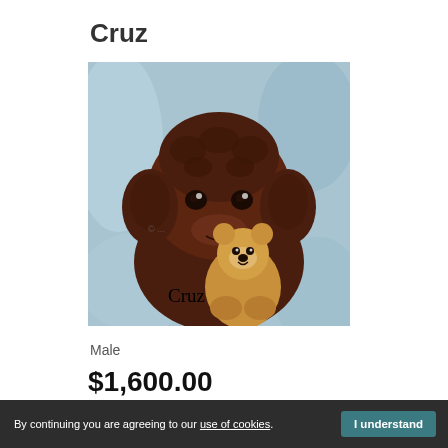Cruz
[Figure (photo): A chocolate brown curly-haired puppy (labradoodle or similar) holding a small stuffed animal toy against a light blue blanket background. The name 'Cruz' is overlaid on the photo in serif font.]
Male
$1,600.00
By continuing you are agreeing to our use of cookies. I understand